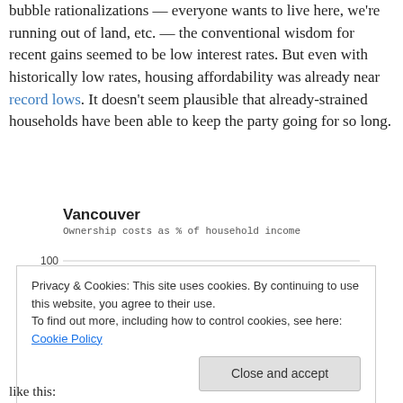bubble rationalizations — everyone wants to live here, we're running out of land, etc. — the conventional wisdom for recent gains seemed to be low interest rates. But even with historically low rates, housing affordability was already near record lows. It doesn't seem plausible that already-strained households have been able to keep the party going for so long.
[Figure (line-chart): Ownership costs as % of household income. Two lines: Two-storey (red/orange) and Bungalow (dark blue), both rising steeply over time, approaching 80-100% range.]
Privacy & Cookies: This site uses cookies. By continuing to use this website, you agree to their use. To find out more, including how to control cookies, see here: Cookie Policy
like this: